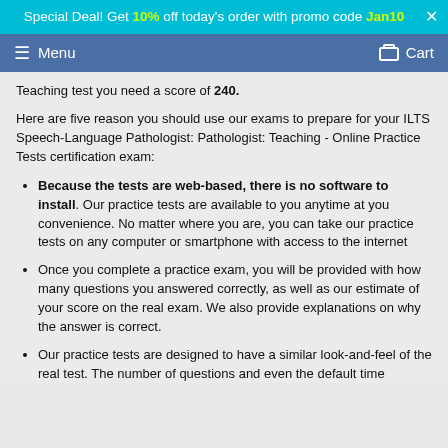Special Deal! Get 10% off today's order with promo code Jan10 X
Menu  Cart
Teaching test you need a score of 240.
Here are five reason you should use our exams to prepare for your ILTS Speech-Language Pathologist: Pathologist: Teaching - Online Practice Tests certification exam:
Because the tests are web-based, there is no software to install. Our practice tests are available to you anytime at you convenience. No matter where you are, you can take our practice tests on any computer or smartphone with access to the internet
Once you complete a practice exam, you will be provided with how many questions you answered correctly, as well as our estimate of your score on the real exam. We also provide explanations on why the answer is correct.
Our practice tests are designed to have a similar look-and-feel of the real test. The number of questions and even the default time